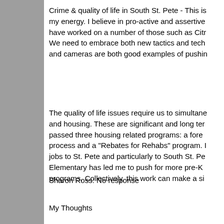Crime & quality of life in South St. Pete - This is my energy. I believe in pro-active and assertive have worked on a number of those such as Citr We need to embrace both new tactics and tech and cameras are both good examples of pushin
The quality of life issues require us to simultane and housing. These are significant and long ter passed three housing related programs: a fore process and a "Rebates for Rehabs" program. jobs to St. Pete and particularly to South St. Pe Elementary has led me to push for more pre-K programs. Collectively, this work can make a si
Sharon Ross: No response
My Thoughts